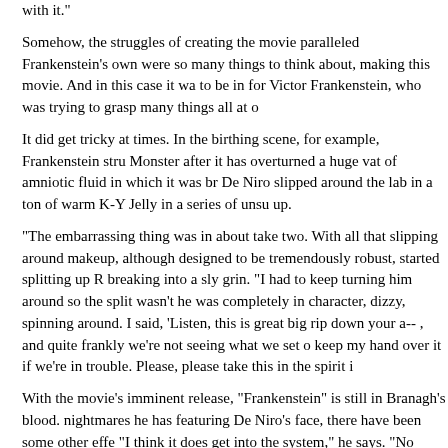very hard work. So if I got two years of just the hard work, as it were, I don't mind being associated with it."
Somehow, the struggles of creating the movie paralleled Frankenstein's own struggles. "There were so many things to think about, making this movie. And in this case it was a metaphor for what it's like to be in for Victor Frankenstein, who was trying to grasp many things all at once."
It did get tricky at times. In the birthing scene, for example, Frankenstein struggles to control the Monster after it has overturned a huge vat of amniotic fluid in which it was br... De Niro slipped around the lab in a ton of warm K-Y Jelly in a series of unsuc... up.
"The embarrassing thing was in about take two. With all that slipping around... makeup, although designed to be tremendously robust, started splitting up R... breaking into a sly grin. "I had to keep turning him around so the split wasn't... he was completely in character, dizzy, spinning around. I said, 'Listen, this is... great big rip down your a-- , and quite frankly we're not seeing what we set o... keep my hand over it if we're in trouble. Please, please take this in the spirit i...
With the movie's imminent release, "Frankenstein" is still in Branagh's blood... nightmares he has featuring De Niro's face, there have been some other effe... "I think it does get into the system," he says. "No matter how un-Methody yo... honest, I'm a bit melancholy. During 'Much Ado,' it was impossible not to be i... But here I've been thinking about the moral dilemmas of eternal life. You can...
He pauses a minute, to think about the past two years of work. "I'll be glad to...
Back to Articles Listing
Back to the Compendium